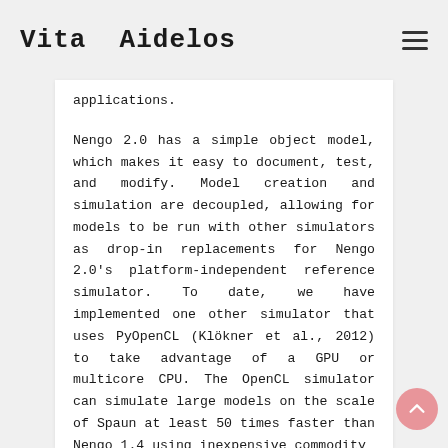Vita Aidelos
applications.
Nengo 2.0 has a simple object model, which makes it easy to document, test, and modify. Model creation and simulation are decoupled, allowing for models to be run with other simulators as drop-in replacements for Nengo 2.0's platform-independent reference simulator. To date, we have implemented one other simulator that uses PyOpenCL (Klöckner et al., 2012) to take advantage of a GPU or multicore CPU. The OpenCL simulator can simulate large models on the scale of Spaun at least 50 times faster than Nengo 1.4 using inexpensive commodity